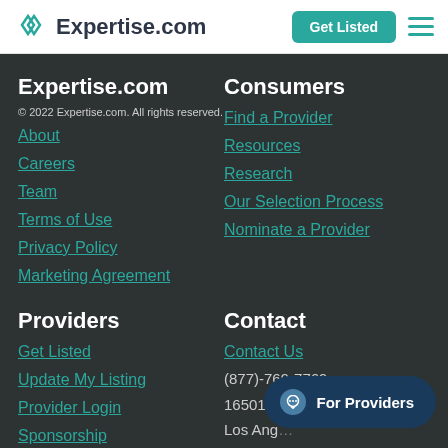Expertise.com | Get Listed
Expertise.com
© 2022 Expertise.com. All rights reserved.
About
Careers
Team
Terms of Use
Privacy Policy
Marketing Agreement
Consumers
Find a Provider
Resources
Research
Our Selection Process
Nominate a Provider
Providers
Get Listed
Update My Listing
Provider Login
Sponsorship
FAQs
Contact
Contact Us
(877)-769-7769
16501 Ventura Blvd, Suite 400
Los Angeles...
For Providers